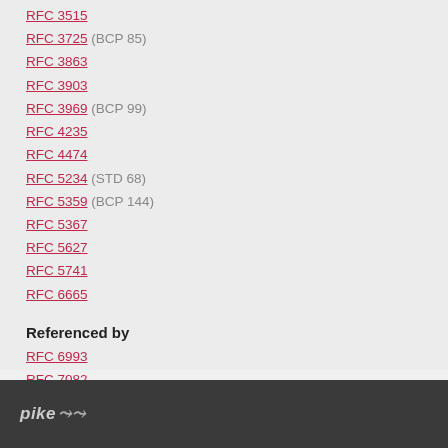RFC 3515
RFC 3725 (BCP 85)
RFC 3863
RFC 3903
RFC 3969 (BCP 99)
RFC 4235
RFC 4474
RFC 5234 (STD 68)
RFC 5359 (BCP 144)
RFC 5367
RFC 5627
RFC 5741
RFC 6665
Referenced by
RFC 6993
RFC 7082
RFC 7462
pike logo